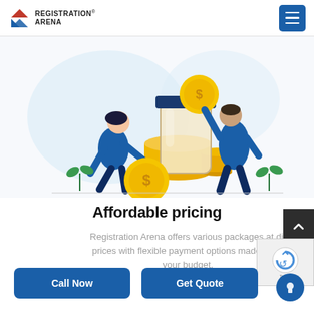REGISTRATION® ARENA
[Figure (illustration): Flat illustration of two people placing gold coins into a large glass jar with a blue lid — a woman bending down to pick up a large dollar coin, and a man standing and inserting a coin into the jar. Background has soft blue blob shapes.]
Affordable pricing
Registration Arena offers various packages at different prices with flexible payment options made to best suit your budget.
Call Now
Get Quote